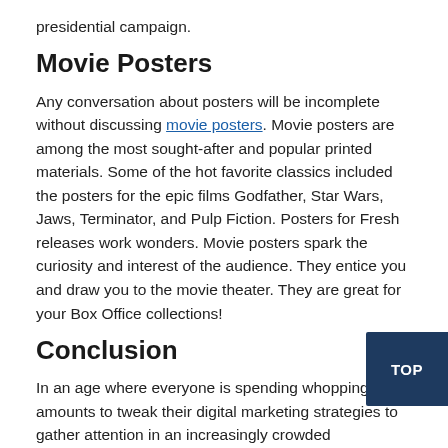presidential campaign.
Movie Posters
Any conversation about posters will be incomplete without discussing movie posters. Movie posters are among the most sought-after and popular printed materials. Some of the hot favorite classics included the posters for the epic films Godfather, Star Wars, Jaws, Terminator, and Pulp Fiction. Posters for Fresh releases work wonders. Movie posters spark the curiosity and interest of the audience. They entice you and draw you to the movie theater. They are great for your Box Office collections!
Conclusion
In an age where everyone is spending whopping amounts to tweak their digital marketing strategies to gather attention in an increasingly crowded marketplace, posters provide a conventional but surprisingly effective competitive advantage. Having now been exposed to various types of